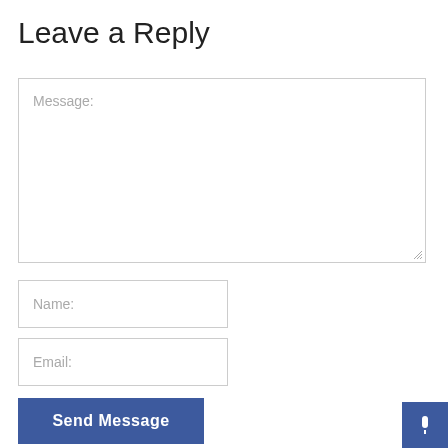Leave a Reply
Message:
Name:
Email:
Send Message